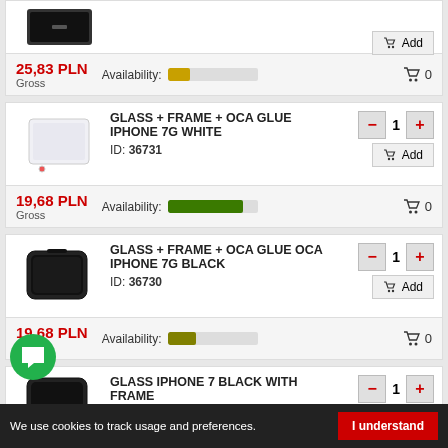[Figure (photo): Partial product card top with Add button showing quantity controls]
25,83 PLN
Gross
Availability: [yellow bar]
0
GLASS + FRAME + OCA GLUE IPHONE 7G WHITE
ID: 36731
19,68 PLN
Gross
Availability: [green bar]
0
GLASS + FRAME + OCA GLUE OCA IPHONE 7G BLACK
ID: 36730
19,68 PLN
Gross
Availability: [olive bar]
0
GLASS IPHONE 7 BLACK WITH FRAME
ID: 37758
We use cookies to track usage and preferences.
I understand